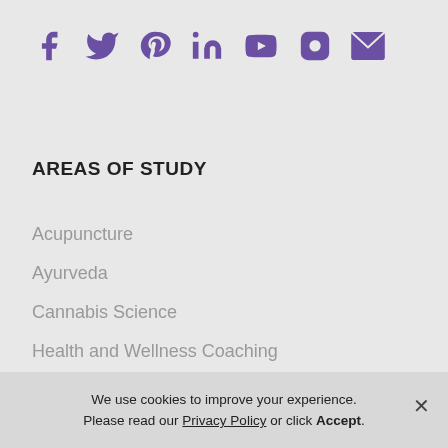[Figure (other): Social media icons row: Facebook, Twitter, Pinterest, LinkedIn, YouTube, Instagram, Email — all in purple]
AREAS OF STUDY
Acupuncture
Ayurveda
Cannabis Science
Health and Wellness Coaching
Health Promotion
Herbal Medicine
We use cookies to improve your experience. Please read our Privacy Policy or click Accept.